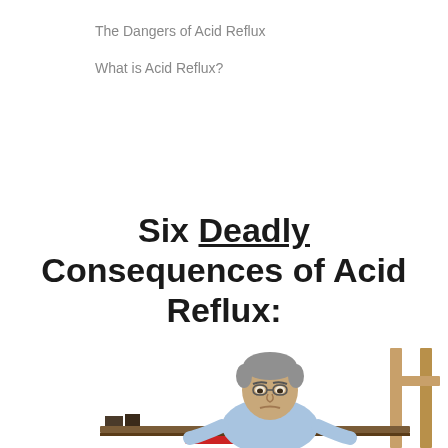The Dangers of Acid Reflux
What is Acid Reflux?
Six Deadly Consequences of Acid Reflux:
[Figure (illustration): An illustrated/rendered image of an older man sitting at a desk, appearing to be working at a computer, with a wooden cross or window frame visible in the upper right background.]